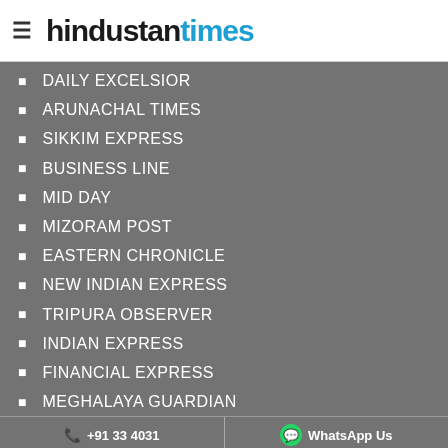hindustan times
DAILY EXCELSIOR
ARUNACHAL TIMES
SIKKIM EXPRESS
BUSINESS LINE
MID DAY
MIZORAM POST
EASTERN CHRONICLE
NEW INDIAN EXPRESS
TRIPURA OBSERVER
INDIAN EXPRESS
FINANCIAL EXPRESS
MEGHALAYA GUARDIAN
NAGALAND POST
ARUNACHAL FRONT
+91 33 4031 | WhatsApp Us